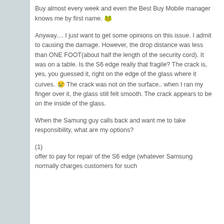Buy almost every week and even the Best Buy Mobile manager knows me by first name. 🐸
Anyway.... I just want to get some opinions on this issue. I admit to causing the damage. However, the drop distance was less than ONE FOOT(about half the length of the security cord). It was on a table. Is the S6 edge really that fragile? The crack is, yes, you guessed it, right on the edge of the glass where it curves. 😢 The crack was not on the surface.. when I ran my finger over it, the glass still felt smooth. The crack appears to be on the inside of the glass.
When the Samung guy calls back and want me to take responsibility, what are my options?
(1)
offer to pay for repair of the S6 edge (whatever Samsung normally charges customers for such